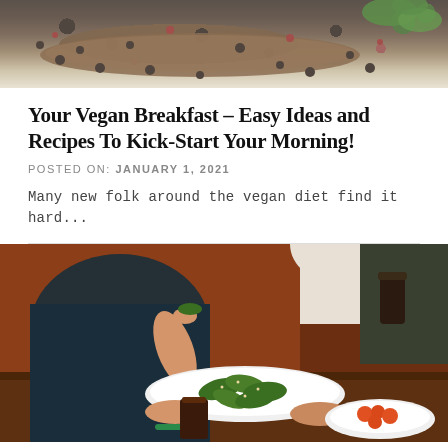[Figure (photo): Top portion of a food photography image showing spices, berries, and green herbs on a wooden board against a light background]
Your Vegan Breakfast – Easy Ideas and Recipes To Kick-Start Your Morning!
POSTED ON: JANUARY 1, 2021
Many new folk around the vegan diet find it hard...
[Figure (photo): People sharing a plate of green vegan food (possibly padron peppers) at a restaurant table, with drinks and another dish of tomatoes visible]